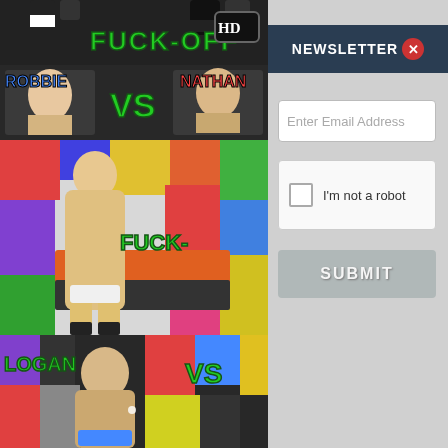[Figure (photo): Adult entertainment website screenshot showing a newsletter signup overlay on top of a promotional image. Left side shows a colorful studio set with male models. Right side shows a newsletter signup form with email field, CAPTCHA, and submit button. Text overlays include 'FUCK-OFF', 'HD', 'ROBBIE', 'VS', 'NATHAN', 'FUCK-', 'LOGAN', 'VS'.]
NEWSLETTER
Enter Email Address
I'm not a robot
SUBMIT